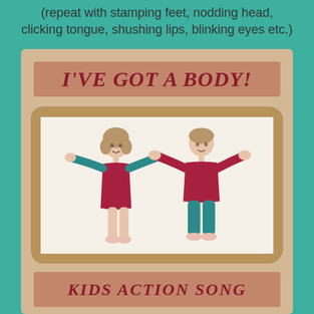(repeat with stamping feet, nodding head, clicking tongue, shushing lips, blinking eyes etc.)
[Figure (illustration): Book cover illustration titled 'I'VE GOT A BODY! KIDS ACTION SONG' showing two children with arms outstretched — a girl in a red dress with teal sleeves and a boy in a red top with teal pants — set within a decorative cardboard-style frame on a tan/beige background.]